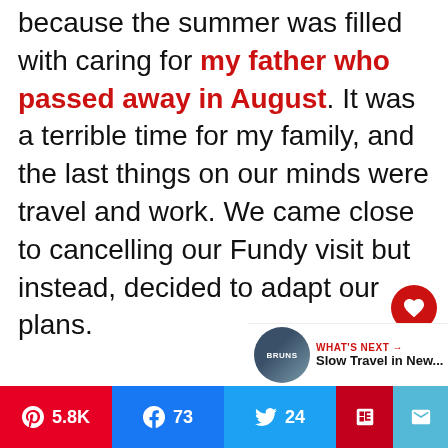because the summer was filled with caring for my father who passed away in August. It was a terrible time for my family, and the last things on our minds were travel and work. We came close to cancelling our Fundy visit but instead, decided to adapt our plans.
[Figure (other): Floating action buttons: red heart icon with count 4 below, and a share icon button below that]
[Figure (screenshot): What's Next promo box with circular image thumbnail labeled BRUNS, red arrow, bold label WHAT'S NEXT and title 'Slow Travel in New...']
[Figure (other): Social sharing bar with Pinterest (5.8K), Facebook (73), Twitter (24), Flipboard, and Email buttons]